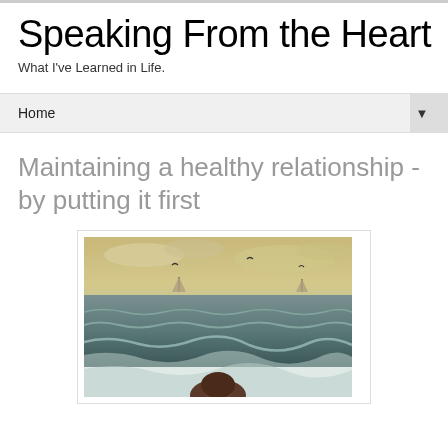Speaking From the Heart
What I've Learned in Life.
Home ▼
Maintaining a healthy relationship - by putting it first
[Figure (photo): A person sitting on a beach looking out at a choppy ocean with waves, sailboats visible on the horizon, and birds in a cloudy yellow-toned sky. Vintage/sepia-toned photo style.]